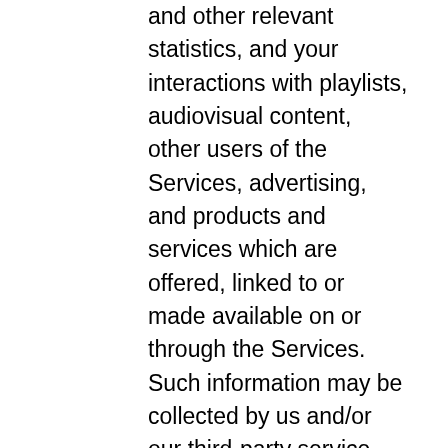and other relevant statistics, and your interactions with playlists, audiovisual content, other users of the Services, advertising, and products and services which are offered, linked to or made available on or through the Services. Such information may be collected by us and/or our third-party service providers and partners. Certain Tracking Technologies enable us to customize your experience on the Services and provide tailored recommendations, promotions, advertisements and other content relating to your specific interests. Other Tracking Technologies are used to make login to the Services easier (such as by remembering your user ID) and allow us to collect non-specific location information. You can learn more about the use of cookies and other Tracking Technologies on the Services in Section 4.D below.